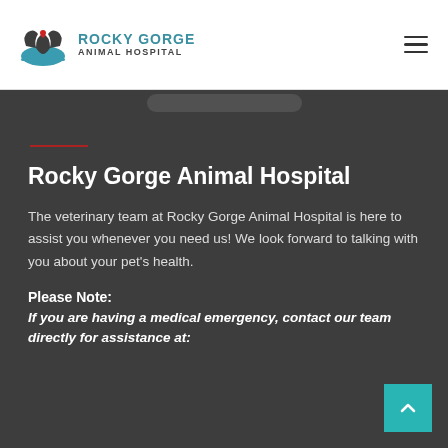[Figure (logo): Rocky Gorge Animal Hospital logo with animal silhouettes forming a heart shape, teal and dark gray colors]
Rocky Gorge Animal Hospital
The veterinary team at Rocky Gorge Animal Hospital is here to assist you whenever you need us! We look forward to talking with you about your pet's health.
Please Note:
If you are having a medical emergency, contact our team directly for assistance at: